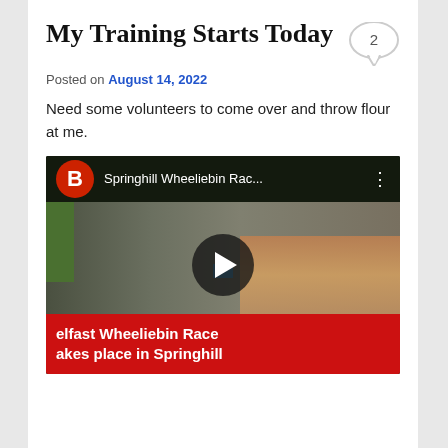My Training Starts Today
Posted on August 14, 2022
Need some volunteers to come over and throw flour at me.
[Figure (screenshot): YouTube video thumbnail showing aerial view of Springhill Wheeliebin Race with crowd of people on a street. Red banner at bottom reads 'Belfast Wheeliebin Race takes place in Springhill'. Red YouTube-style logo with 'B' in top left corner.]